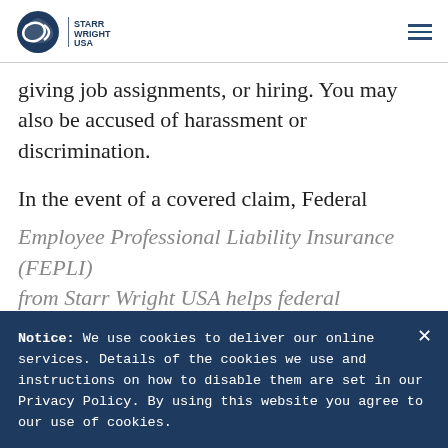Starr Wright USA
giving job assignments, or hiring. You may also be accused of harassment or discrimination.
In the event of a covered claim, Federal Employee Professional Liability Insurance (FEPLI) from Starr Wright USA helps federal managers and supervisors secure legal counseling. It also can cover qualifying civil court judgments against you, defense costs for federal government-initiated administrative proceedings, and defense
Notice: We use cookies to deliver our online services. Details of the cookies we use and instructions on how to disable them are set in our Privacy Policy. By using this website you agree to our use of cookies.